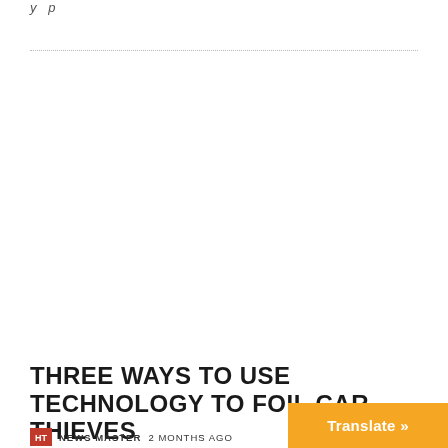y p
TECHNOLOGY
THREE WAYS TO USE TECHNOLOGY TO FOIL CAR THIEVES
NEWS MASTER 2 MONTHS AGO
Translate »